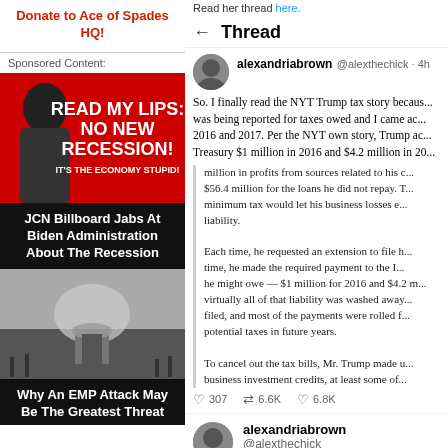Donate to Ace of Spades HQ!
Sponsored Content:
[Figure (photo): Political billboard ad showing Biden silhouette on red background with text READ MY LIPS: NO NEW RECESSION! IT'S THE ECONOMY STUPID!]
JCN Billboard Jabs At Biden Administration About The Recession
[Figure (photo): Photo of a mushroom cloud nuclear explosion]
Why An EMP Attack May Be The Greatest Threat
Read her thread here.
Thread
alexandriabrown @alexthechick · 4h
So. I finally read the NYT Trump tax story because I was being reported for taxes owed and I came across 2016 and 2017. Per the NYT own story, Trump ac... Treasury $1 million in 2016 and $4.2 million in 20...
million in profits from sources related to his c... $56.4 million for the loans he did not repay. T... minimum tax would let his business losses e... liability.

Each time, he requested an extension to file h... time, he made the required payment to the I... he might owe — $1 million for 2016 and $4.2 m... virtually all of that liability was washed away... filed, and most of the payments were rolled f... potential taxes in future years.

To cancel out the tax bills, Mr. Trump made u... business investment credits, at least some of...
307	6.6K	6.8K
alexandriabrown @alexthechick
Replying to @alexthechick